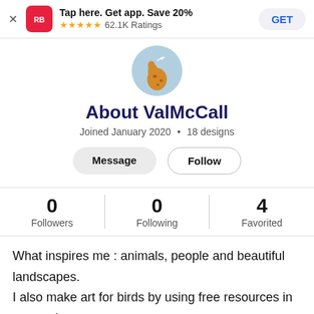[Figure (screenshot): App download banner with Redbubble logo, 'Tap here. Get app. Save 20%', 5 stars, 62.1K Ratings, and GET button]
[Figure (illustration): Circular avatar with giraffe illustration on light blue background]
About ValMcCall
Joined January 2020 • 18 designs
Message   Follow
| Followers | Following | Favorited |
| --- | --- | --- |
| 0 | 0 | 4 |
What inspires me : animals, people and beautiful landscapes.
I also make art for birds by using free resources in my garden.